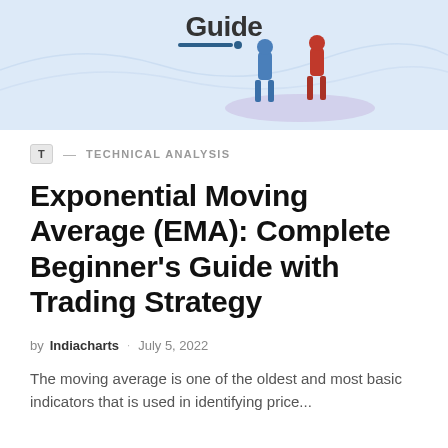[Figure (illustration): Hero banner illustration showing a stylized 'Guide' text with two illustrated figures standing on a light blue/purple background with decorative lines and dots]
T — TECHNICAL ANALYSIS
Exponential Moving Average (EMA): Complete Beginner's Guide with Trading Strategy
by Indiacharts · July 5, 2022
The moving average is one of the oldest and most basic indicators that is used in identifying price...